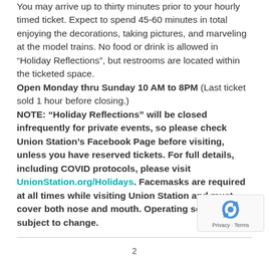You may arrive up to thirty minutes prior to your hourly timed ticket. Expect to spend 45-60 minutes in total enjoying the decorations, taking pictures, and marveling at the model trains. No food or drink is allowed in “Holiday Reflections”, but restrooms are located within the ticketed space. Open Monday thru Sunday 10 AM to 8PM (Last ticket sold 1 hour before closing.) NOTE: “Holiday Reflections” will be closed infrequently for private events, so please check Union Station’s Facebook Page before visiting, unless you have reserved tickets. For full details, including COVID protocols, please visit UnionStation.org/Holidays. Facemasks are required at all times while visiting Union Station and must cover both nose and mouth. Operating schedule subject to change.
2